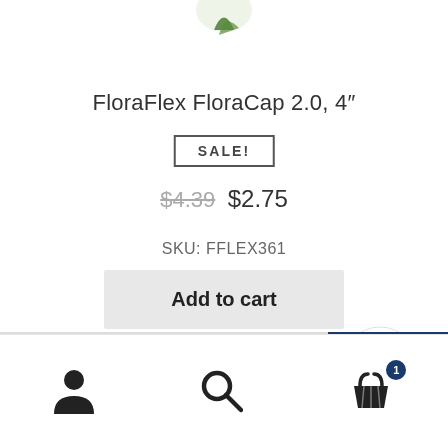[Figure (photo): Partial product image of FloraFlex FloraCap at top of page]
FloraFlex FloraCap 2.0, 4"
SALE!
$4.39  $2.75
SKU: FFLEX361
Add to cart
[Figure (logo): Green leaf logo in circular white badge at bottom right]
[Figure (infographic): Bottom navigation bar with person icon, search icon, and shopping cart icon with badge showing 1]